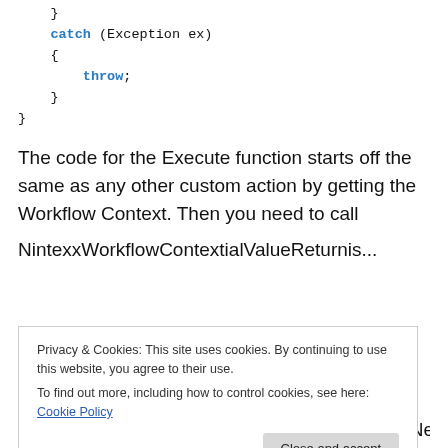}
catch (Exception ex)
{
    throw;
}
}
The code for the Execute function starts off the same as any other custom action by getting the Workflow Context. Then you need to call
NintexxWorkflowContextialValueReturnis...
Privacy & Cookies: This site uses cookies. By continuing to use this website, you agree to their use.
To find out more, including how to control cookies, see here: Cookie Policy
new context to our runDifferentThread class. Next we